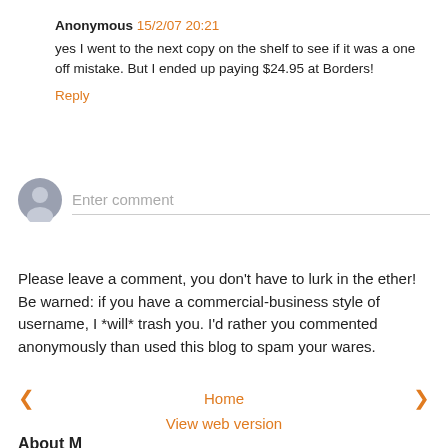Anonymous 15/2/07 20:21
yes I went to the next copy on the shelf to see if it was a one off mistake. But I ended up paying $24.95 at Borders!
Reply
[Figure (illustration): Comment input area with avatar icon and placeholder text 'Enter comment']
Please leave a comment, you don't have to lurk in the ether! Be warned: if you have a commercial-business style of username, I *will* trash you. I'd rather you commented anonymously than used this blog to spam your wares.
< Home > View web version About Me